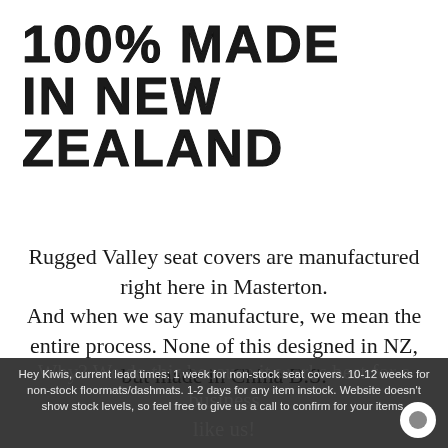100% MADE IN NEW ZEALAND
Rugged Valley seat covers are manufactured right here in Masterton.
And when we say manufacture, we mean the entire process. None of this designed in NZ, but made in China B.S.
Hey Kiwis, current lead times: 1 week for non-stock seat covers. 10-12 weeks for non-stock floormats/dashmats. 1-2 days for any item instock. Website doesn't show stock levels, so feel free to give us a call to confirm for your items.